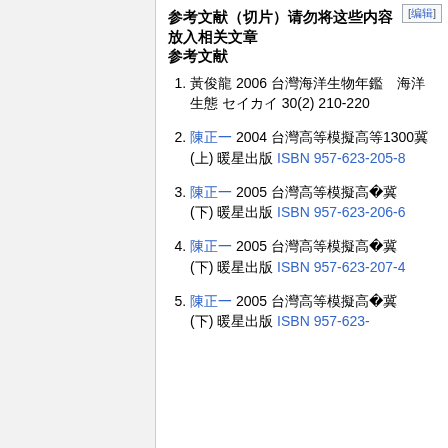参考文献 [编辑]
1. 黃俊龍 2006 台灣海洋生物年鑑 海洋生態 30(2) 210-220
2. 陳正一 2004 台灣魚類大全1300種(上) 晨星出版 ISBN 957-623-205-8
3. 陳正一 2005 台灣魚類大全1300種(下) 晨星出版 ISBN 957-623-206-6
4. 陳正一 2005 台灣魚類大全1300種(下) 晨星出版 ISBN 957-623-207-4
5. 陳正一 2005 台灣魚類大全1300種(下) 晨星出版 ISBN 957-623-